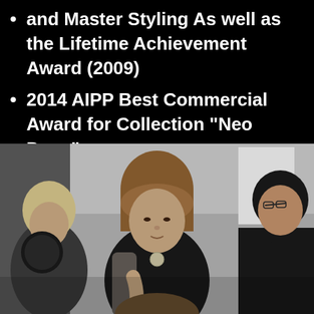and Master Styling As well as the Lifetime Achievement Award (2009)
2014 AIPP Best Commercial Award for Collection "Neo Deco"
[Figure (photo): Black and white photograph of three women working on a person's hair in what appears to be a salon or studio setting. A woman with blonde curly hair on the left, a woman with auburn hair in the center wearing a black top with necklace, and a woman with dark hair on the right wearing glasses and holding a tool.]